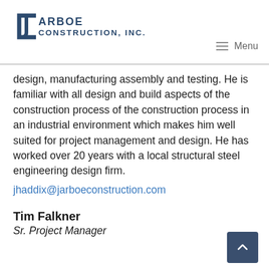[Figure (logo): Jarboe Construction, Inc. logo with stylized 'JC' icon in dark blue and company name text]
≡  Menu
design, manufacturing assembly and testing. He is familiar with all design and build aspects of the construction process of the construction process in an industrial environment which makes him well suited for project management and design. He has worked over 20 years with a local structural steel engineering design firm. jhaddix@jarboeconstruction.com
Tim Falkner
Sr. Project Manager